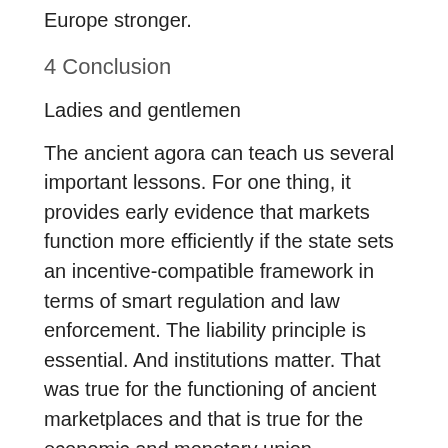Europe stronger.
4 Conclusion
Ladies and gentlemen
The ancient agora can teach us several important lessons. For one thing, it provides early evidence that markets function more efficiently if the state sets an incentive-compatible framework in terms of smart regulation and law enforcement. The liability principle is essential. And institutions matter. That was true for the functioning of ancient marketplaces and that is true for the economic and monetary union.
"The whole is greater than the sum of its parts." This sentence, which is attributed to Aristotle, concisely sums up the idea of European integration. In this